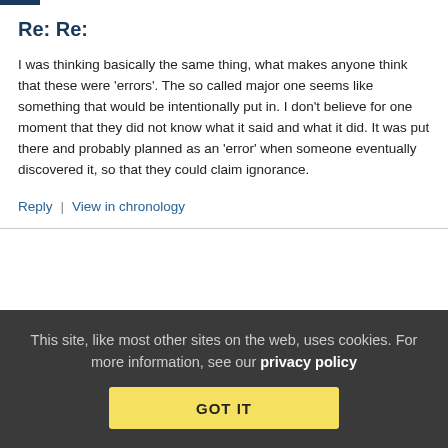Re: Re:
I was thinking basically the same thing, what makes anyone think that these were 'errors'. The so called major one seems like something that would be intentionally put in. I don't believe for one moment that they did not know what it said and what it did. It was put there and probably planned as an 'error' when someone eventually discovered it, so that they could claim ignorance.
Reply | View in chronology
[Figure (infographic): Row of five icons: lightbulb, laughing emoji, speech bubble with quote marks (open), speech bubble with quote marks (close), flag]
This site, like most other sites on the web, uses cookies. For more information, see our privacy policy GOT IT